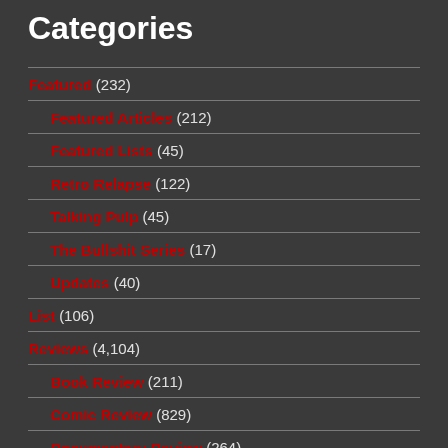Categories
Featured (232)
Featured Articles (212)
Featured Lists (45)
Retro Relapse (122)
Talking Pulp (45)
The Bullshit Series (17)
Updates (40)
List (106)
Reviews (4,104)
Book Review (211)
Comic Review (829)
Documentary Review (264)